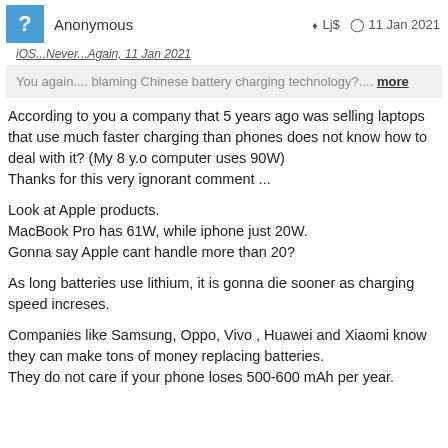Anonymous   Lj$   11 Jan 2021
iOS...Never...Again, 11 Jan 2021
You again.... blaming Chinese battery charging technology?.... more
According to you a company that 5 years ago was selling laptops that use much faster charging than phones does not know how to deal with it? (My 8 y.o computer uses 90W)
Thanks for this very ignorant comment ...
Look at Apple products.
MacBook Pro has 61W, while iphone just 20W.
Gonna say Apple cant handle more than 20?
As long batteries use lithium, it is gonna die sooner as charging speed increses.
Companies like Samsung, Oppo, Vivo , Huawei and Xiaomi know they can make tons of money replacing batteries.
They do not care if your phone loses 500-600 mAh per year.